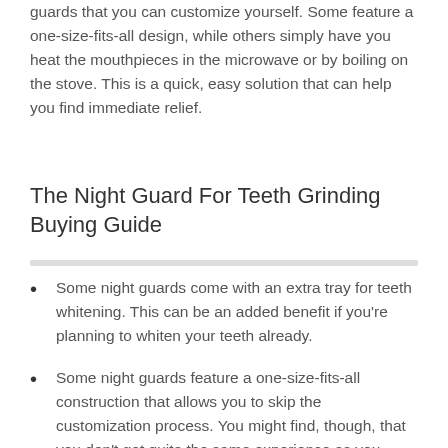guards that you can customize yourself. Some feature a one-size-fits-all design, while others simply have you heat the mouthpieces in the microwave or by boiling on the stove. This is a quick, easy solution that can help you find immediate relief.
The Night Guard For Teeth Grinding  Buying Guide
Some night guards come with an extra tray for teeth whitening. This can be an added benefit if you're planning to whiten your teeth already.
Some night guards feature a one-size-fits-all construction that allows you to skip the customization process. You might find, though, that you don't get quite the same experience as you would with a customized